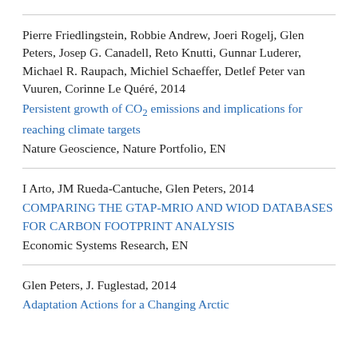Pierre Friedlingstein, Robbie Andrew, Joeri Rogelj, Glen Peters, Josep G. Canadell, Reto Knutti, Gunnar Luderer, Michael R. Raupach, Michiel Schaeffer, Detlef Peter van Vuuren, Corinne Le Quéré, 2014
Persistent growth of CO2 emissions and implications for reaching climate targets
Nature Geoscience, Nature Portfolio, EN
I Arto, JM Rueda-Cantuche, Glen Peters, 2014
COMPARING THE GTAP-MRIO AND WIOD DATABASES FOR CARBON FOOTPRINT ANALYSIS
Economic Systems Research, EN
Glen Peters, J. Fuglestad, 2014
Adaptation Actions for a Changing Arctic